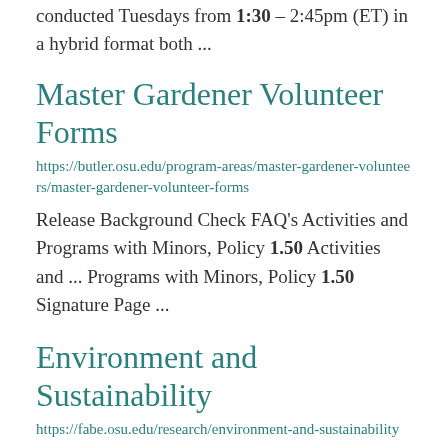conducted Tuesdays from 1:30 – 2:45pm (ET) in a hybrid format both ...
Master Gardener Volunteer Forms
https://butler.osu.edu/program-areas/master-gardener-volunteers/master-gardener-volunteer-forms
Release Background Check FAQ's Activities and Programs with Minors, Policy 1.50 Activities and ... Programs with Minors, Policy 1.50 Signature Page ...
Environment and Sustainability
https://fabe.osu.edu/research/environment-and-sustainability
Topics of Research Agricultural air quality ...